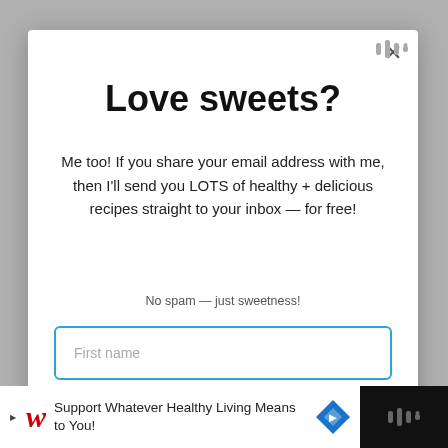Love sweets?
Me too! If you share your email address with me, then I'll send you LOTS of healthy + delicious recipes straight to your inbox — for free!
No spam — just sweetness!
First name
Email address
Support Whatever Healthy Living Means to You!